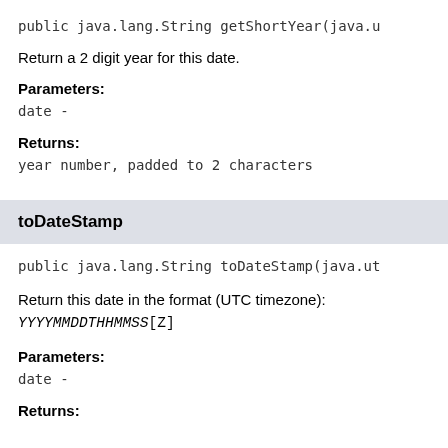public java.lang.String getShortYear(java.u
Return a 2 digit year for this date.
Parameters:
date -
Returns:
year number, padded to 2 characters
toDateStamp
public java.lang.String toDateStamp(java.ut
Return this date in the format (UTC timezone): YYYYMMDDTHHMMSS[Z]
Parameters:
date -
Returns: